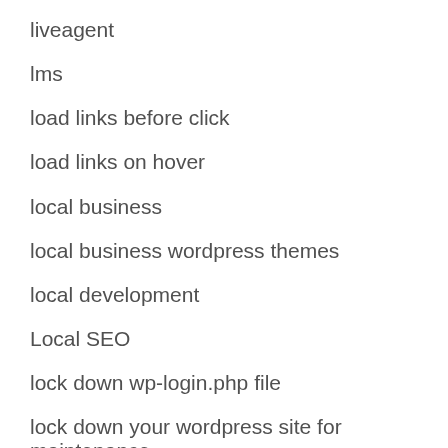liveagent
lms
load links before click
load links on hover
local business
local business wordpress themes
local development
Local SEO
lock down wp-login.php file
lock down your wordpress site for maintenance
login
login forms